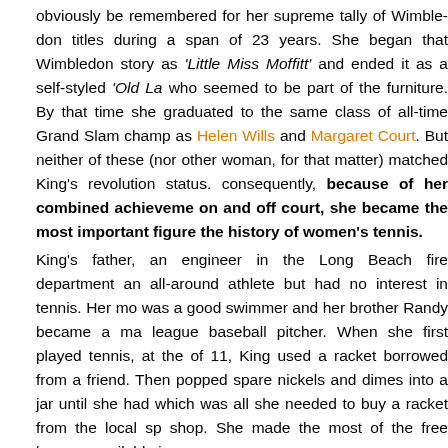obviously be remembered for her supreme tally of Wimbledon titles during a span of 23 years. She began that Wimbledon story as 'Little Miss Moffitt' and ended it as a self-styled 'Old Lady' who seemed to be part of the furniture. By that time she had graduated to the same class of all-time Grand Slam champions as Helen Wills and Margaret Court. But neither of these (nor any other woman, for that matter) matched King's revolutionary status. consequently, because of her combined achievements on and off court, she became the most important figure in the history of women's tennis.
King's father, an engineer in the Long Beach fire department was an all-around athlete but had no interest in tennis. Her mother was a good swimmer and her brother Randy became a major-league baseball pitcher. When she first played tennis, at the age of 11, King used a racket borrowed from a friend. Then she popped spare nickels and dimes into a jar until she had $8, which was all she needed to buy a racket from the local sporting shop. She made the most of the free lessons available in p